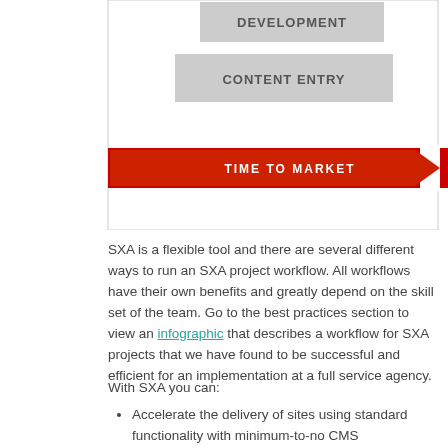[Figure (infographic): Diagram showing workflow stages: DEVELOPMENT box at top, CONTENT ENTRY box below it, and a red arrow labeled TIME TO MARKET pointing right across the bottom.]
SXA is a flexible tool and there are several different ways to run an SXA project workflow. All workflows have their own benefits and greatly depend on the skill set of the team. Go to the best practices section to view an infographic that describes a workflow for SXA projects that we have found to be successful and efficient for an implementation at a full service agency.
With SXA you can:
Accelerate the delivery of sites using standard functionality with minimum-to-no CMS development.